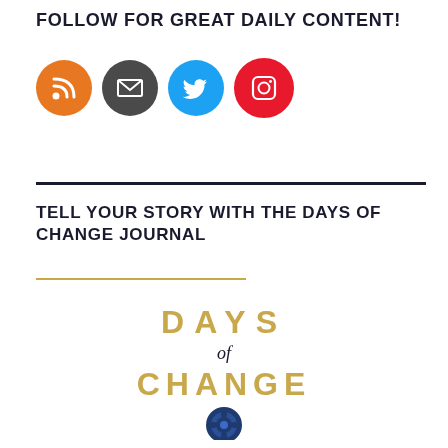FOLLOW FOR GREAT DAILY CONTENT!
[Figure (infographic): Four social media icon circles in a row: RSS (orange), Email/envelope (dark grey), Twitter bird (blue), Instagram camera (red)]
TELL YOUR STORY WITH THE DAYS OF CHANGE JOURNAL
[Figure (logo): Days of Change journal logo: 'DAYS' in gold uppercase letters, 'of' in dark italic script, 'CHANGE' in gold uppercase letters, followed by a circular blue emblem below]